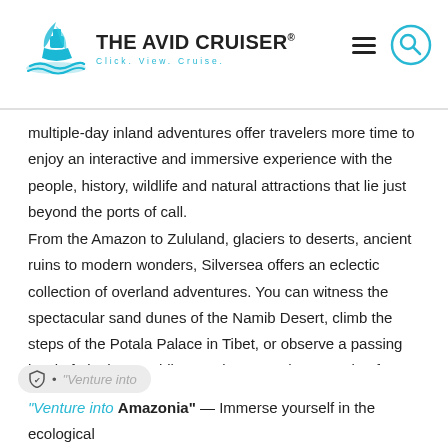THE AVID CRUISER® Click. View. Cruise.
multiple-day inland adventures offer travelers more time to enjoy an interactive and immersive experience with the people, history, wildlife and natural attractions that lie just beyond the ports of call.
From the Amazon to Zululand, glaciers to deserts, ancient ruins to modern wonders, Silversea offers an eclectic collection of overland adventures. You can witness the spectacular sand dunes of the Namib Desert, climb the steps of the Potala Palace in Tibet, or observe a passing herd of elephants while you sip tea on the veranda of a colonial manor house in South Africa.
A small selection of the many new mid-voyage land adventures offered in 2012 follows.
"Venture into Amazonia" — Immerse yourself in the ecological